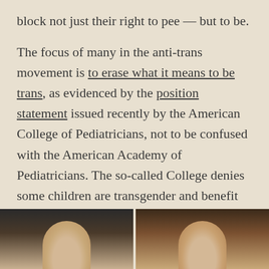block not just their right to pee — but to be.
The focus of many in the anti-trans movement is to erase what it means to be trans, as evidenced by the position statement issued recently by the American College of Pediatricians, not to be confused with the American Academy of Pediatricians. The so-called College denies some children are transgender and benefit from being respected in those identities.
[Figure (photo): Two side-by-side photos of older individuals, partially cropped, showing heads and shoulders against dark backgrounds.]